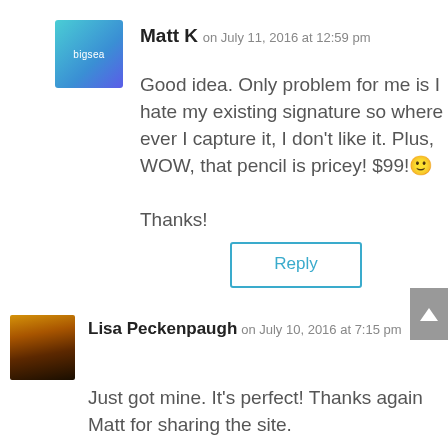[Figure (photo): Avatar image for Matt K - blue/teal gradient square with 'bigsea' text]
Matt K on July 11, 2016 at 12:59 pm
Good idea. Only problem for me is I hate my existing signature so where ever I capture it, I don't like it. Plus, WOW, that pencil is pricey! $99! 🙂
Thanks!
Reply
[Figure (photo): Avatar image for Lisa Peckenpaugh - sunset landscape photo with trees silhouette]
Lisa Peckenpaugh on July 10, 2016 at 7:15 pm
Just got mine. It's perfect! Thanks again Matt for sharing the site.